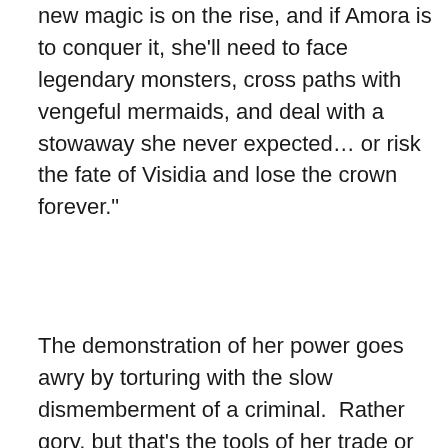new magic is on the rise, and if Amora is to conquer it, she'll need to face legendary monsters, cross paths with vengeful mermaids, and deal with a stowaway she never expected… or risk the fate of Visidia and lose the crown forever."
The demonstration of her power goes awry by torturing with the slow dismemberment of a criminal.  Rather gory, but that's the tools of her trade or magic.  Bastian is the good looking, rugged, determined hero. Ferrick, Amora's finance, stows away when they flee and quickly proves his worth as his magic heals.  I was very slow to warm up to privileged Amora but her character developed nicely so it was easier to root for her.  Poor Ferrick, at first it seemed he was all in favor of the arranged marriage, but his critical review of Amora's flaws turned the tide, showing his strength in character.  Vataea, the mermaid, is my favorite